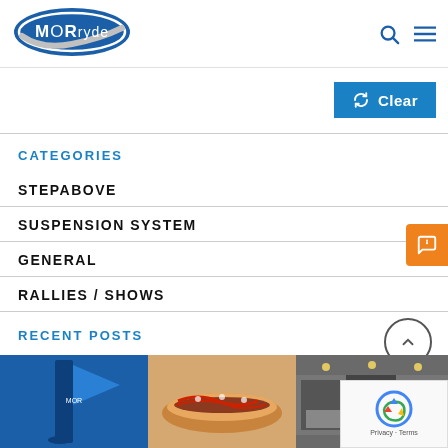[Figure (logo): MORryde oval blue logo with white text]
[Figure (other): Blue Clear filter button with refresh icon]
CATEGORIES
STEPABOVE
SUSPENSION SYSTEM
GENERAL
RALLIES / SHOWS
RECENT POSTS
[Figure (photo): Three blog post thumbnails: blue banner/flag, hotdog food image, trade show scene]